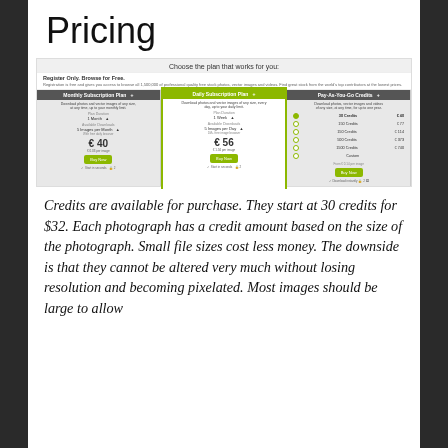Pricing
[Figure (screenshot): Screenshot of a pricing page showing three plan options: Monthly Subscription Plan (€40), Daily Subscription Plan (€56, highlighted in green), and Pay-As-You-Go Credits with various credit tiers starting at 30 credits.]
Credits are available for purchase. They start at 30 credits for $32. Each photograph has a credit amount based on the size of the photograph. Small file sizes cost less money. The downside is that they cannot be altered very much without losing resolution and becoming pixelated. Most images should be large to allow